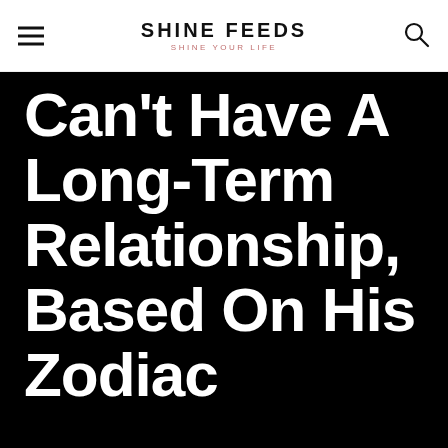SHINE FEEDS — SHINE YOUR LIFE
Can't Have A Long-Term Relationship, Based On His Zodiac